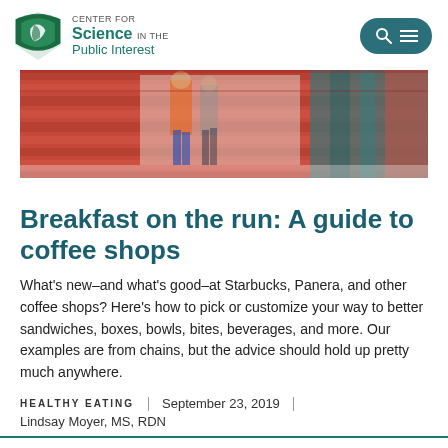CENTER FOR Science IN THE Public Interest
[Figure (photo): Blurred motion photo of people walking past a red-paneled storefront with orange and teal/green colors]
Breakfast on the run: A guide to coffee shops
What's new–and what's good–at Starbucks, Panera, and other coffee shops? Here's how to pick or customize your way to better sandwiches, boxes, bowls, bites, beverages, and more. Our examples are from chains, but the advice should hold up pretty much anywhere.
HEALTHY EATING | September 23, 2019 | Lindsay Moyer, MS, RDN